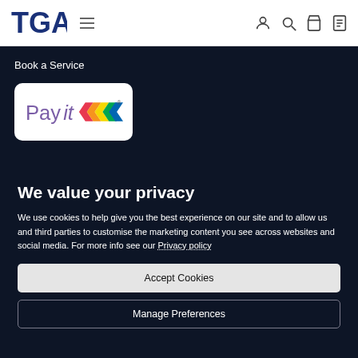[Figure (logo): TGA logo in dark blue with hamburger menu icon]
Book a Service
[Figure (logo): Payit logo with colourful arrow marks on white rounded rectangle]
We value your privacy
We use cookies to help give you the best experience on our site and to allow us and third parties to customise the marketing content you see across websites and social media. For more info see our Privacy policy
Accept Cookies
Manage Preferences